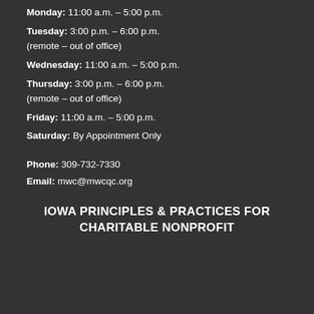Monday: 11:00 a.m. – 5:00 p.m.
Tuesday: 3:00 p.m. – 6:00 p.m. (remote – out of office)
Wednesday: 11:00 a.m. – 5:00 p.m.
Thursday: 3:00 p.m. – 6:00 p.m. (remote – out of office)
Friday: 11:00 a.m. – 5:00 p.m.
Saturday: By Appointment Only
Phone: 309-732-7330
Email: mwc@mwcqc.org
IOWA PRINCIPLES & PRACTICES FOR CHARITABLE NONPROFIT